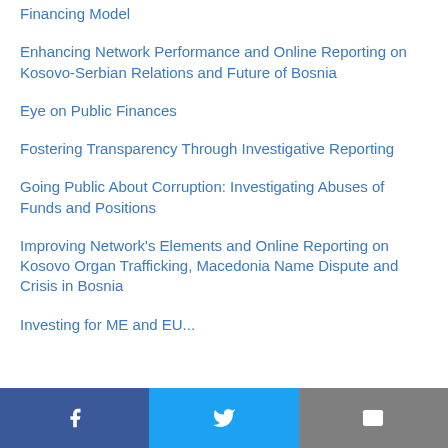Financing Model
Enhancing Network Performance and Online Reporting on Kosovo-Serbian Relations and Future of Bosnia
Eye on Public Finances
Fostering Transparency Through Investigative Reporting
Going Public About Corruption: Investigating Abuses of Funds and Positions
Improving Network's Elements and Online Reporting on Kosovo Organ Trafficking, Macedonia Name Dispute and Crisis in Bosnia
Investing for ME and EU...